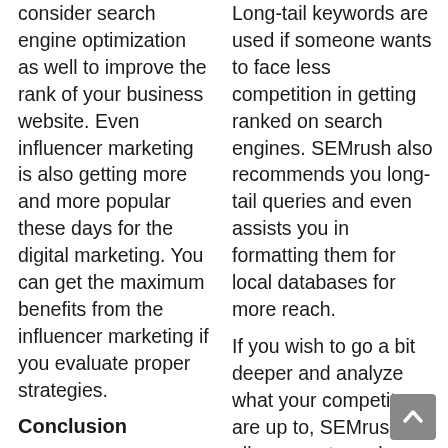consider search engine optimization as well to improve the rank of your business website. Even influencer marketing is also getting more and more popular these days for the digital marketing. You can get the maximum benefits from the influencer marketing if you evaluate proper strategies.
Conclusion
It is not easy to evaluate the strategies for a successful digital marketing campaign. Only experts with professional experience and knowledge about the same
Long-tail keywords are used if someone wants to face less competition in getting ranked on search engines. SEMrush also recommends you long-tail queries and even assists you in formatting them for local databases for more reach.
If you wish to go a bit deeper and analyze what your competitors are up to, SEMrush allows you to probe further into their website pages and even the keywords that they are using for different engines and databases.